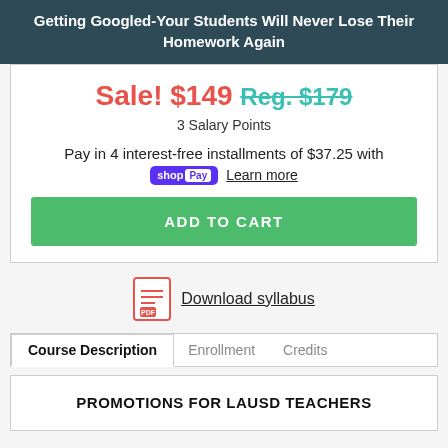Getting Googled-Your Students Will Never Lose Their Homework Again
Sale! $149 Reg. $179
3 Salary Points
Pay in 4 interest-free installments of $37.25 with shop Pay Learn more
ADD TO CART
Download syllabus
Course Description  Enrollment  Credits
PROMOTIONS FOR LAUSD TEACHERS